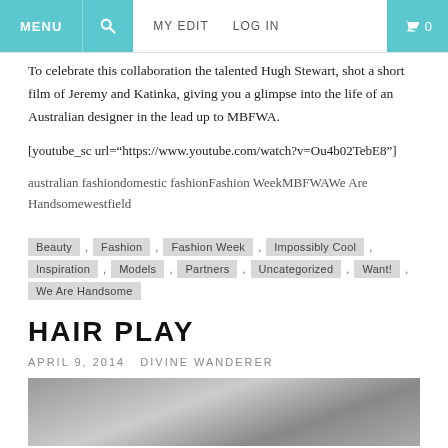MENU  [search]  MY EDIT  LOG IN  [cart] 0
To celebrate this collaboration the talented Hugh Stewart, shot a short film of Jeremy and Katinka, giving you a glimpse into the life of an Australian designer in the lead up to MBFWA.
[youtube_sc url="https://www.youtube.com/watch?v=Ou4b02TebE8"]
australian fashiondomestic fashionFashion WeekMBFWAWe Are Handsomewestfield
Beauty , Fashion , Fashion Week , Impossibly Cool , Inspiration , Models , Partners , Uncategorized , Want! , We Are Handsome
HAIR PLAY
APRIL 9, 2014  DIVINE WANDERER
[Figure (photo): Black and white photo of a person, partially visible, showing hair/head area]